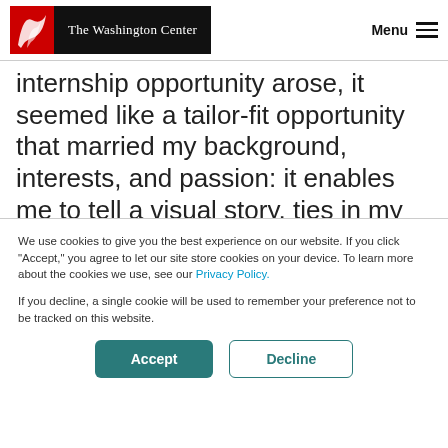The Washington Center — Menu
internship opportunity arose, it seemed like a tailor-fit opportunity that married my background, interests, and passion: it enables me to tell a visual story, ties in my military experience and insatiable curiosity for space exploration, and adds my grad school impact on my ability to tell a more
We use cookies to give you the best experience on our website. If you click "Accept," you agree to let our site store cookies on your device. To learn more about the cookies we use, see our Privacy Policy.
If you decline, a single cookie will be used to remember your preference not to be tracked on this website.